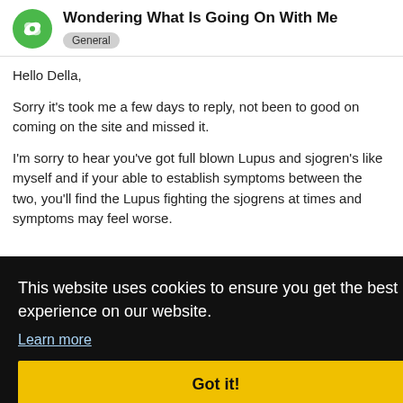Wondering What Is Going On With Me — General
Hello Della,
Sorry it's took me a few days to reply, not been to good on coming on the site and missed it.
I'm sorry to hear you've got full blown Lupus and sjogren's like myself and if your able to establish symptoms between the two, you'll find the Lupus fighting the sjogrens at times and symptoms may feel worse.
[Figure (screenshot): Cookie consent overlay banner with black background, text 'This website uses cookies to ensure you get the best experience on our website.', a 'Learn more' link, and a yellow 'Got it!' button.]
high also.  Della the whole lot can stress